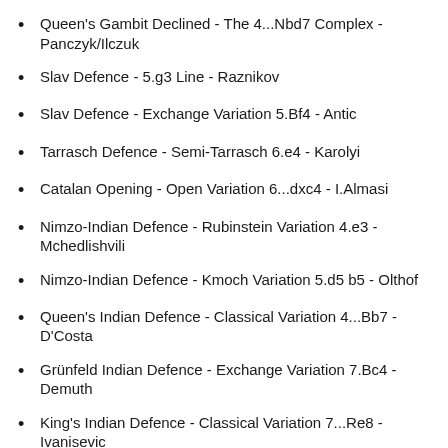Queen's Gambit Declined - The 4...Nbd7 Complex - Panczyk/Ilczuk
Slav Defence - 5.g3 Line - Raznikov
Slav Defence - Exchange Variation 5.Bf4 - Antic
Tarrasch Defence - Semi-Tarrasch 6.e4 - Karolyi
Catalan Opening - Open Variation 6...dxc4 - I.Almasi
Nimzo-Indian Defence - Rubinstein Variation 4.e3 - Mchedlishvili
Nimzo-Indian Defence - Kmoch Variation 5.d5 b5 - Olthof
Queen's Indian Defence - Classical Variation 4...Bb7 - D'Costa
Grünfeld Indian Defence - Exchange Variation 7.Bc4 - Demuth
King's Indian Defence - Classical Variation 7...Re8 - Ivanisevic
King's Indian Defence - Fianchetto Variation 6...Nbd7 -